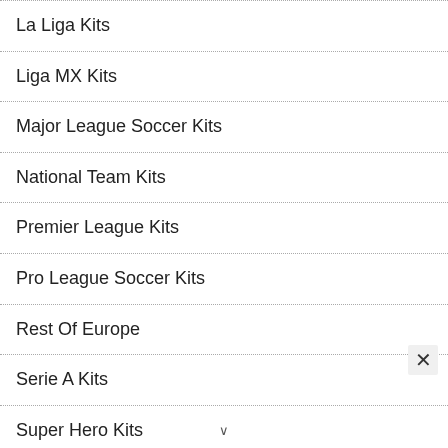La Liga Kits
Liga MX Kits
Major League Soccer Kits
National Team Kits
Premier League Kits
Pro League Soccer Kits
Rest Of Europe
Serie A Kits
Super Hero Kits